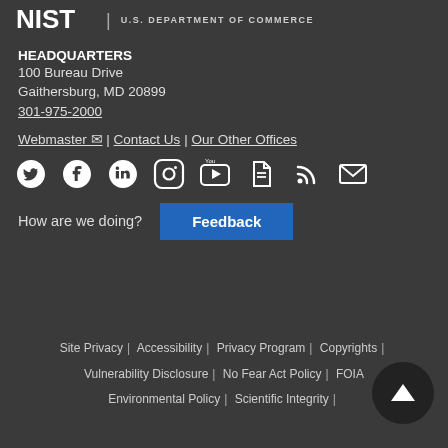[Figure (logo): NIST logo with U.S. Department of Commerce text]
HEADQUARTERS
100 Bureau Drive
Gaithersburg, MD 20899
301-975-2000
Webmaster | Contact Us | Our Other Offices
[Figure (illustration): Social media icons: Twitter, Facebook, LinkedIn, Instagram, YouTube, document, RSS, email]
How are we doing?  Feedback
Site Privacy | Accessibility | Privacy Program | Copyrights | Vulnerability Disclosure | No Fear Act Policy | FOIA | Environmental Policy | Scientific Integrity |